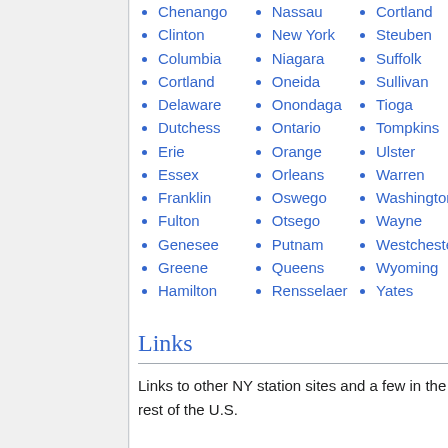Chenango
Clinton
Columbia
Cortland
Delaware
Dutchess
Erie
Essex
Franklin
Fulton
Genesee
Greene
Hamilton
Nassau
New York
Niagara
Oneida
Onondaga
Ontario
Orange
Orleans
Oswego
Otsego
Putnam
Queens
Rensselaer
Cortland
Steuben
Suffolk
Sullivan
Tioga
Tompkins
Ulster
Warren
Washington
Wayne
Westchester
Wyoming
Yates
Links
Links to other NY station sites and a few in the rest of the U.S.